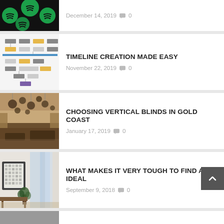[Figure (screenshot): Partial top card showing Spotify logo image]
December 14, 2019   💬 0
[Figure (screenshot): Timeline flowchart diagram with colored boxes]
TIMELINE CREATION MADE EASY
November 22, 2019   💬 0
[Figure (photo): Interior photo of luxury hotel lobby with globe pendant lights]
CHOOSING VERTICAL BLINDS IN GOLD COAST
January 17, 2019   💬 0
[Figure (photo): Interior room photo with framed artwork and curtains]
WHAT MAKES IT VERY TOUGH TO FIND AN IDEAL
September 9, 2018   💬 0
[Figure (photo): Partial bottom card with gray image]